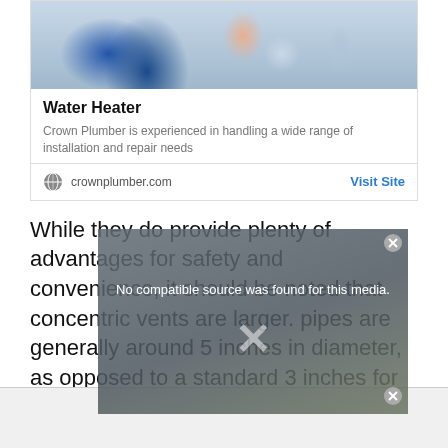[Figure (photo): Photo of a plumber in blue overalls working on water fixtures, shown from waist down, against a white background]
Water Heater
Crown Plumber is experienced in handling a wide range of installation and repair needs
crownplumber.com
Visit Site
While they do provide plenty of advantages for safety and convenience, it should be noted that concentric vents are larger. pipes are generally around 5 inches in diameter, as opposed to a standard 3 inches for single pipes.
[Figure (screenshot): Media error overlay showing 'No compatible source was found for this media.' with an X close button, overlaid on a background image of a building]